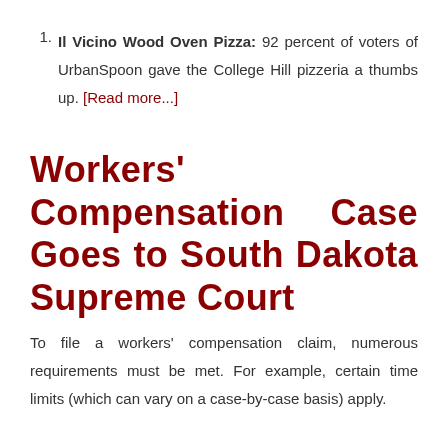Il Vicino Wood Oven Pizza: 92 percent of voters of UrbanSpoon gave the College Hill pizzeria a thumbs up. [Read more...]
Workers' Compensation Case Goes to South Dakota Supreme Court
To file a workers' compensation claim, numerous requirements must be met. For example, certain time limits (which can vary on a case-by-case basis) apply.